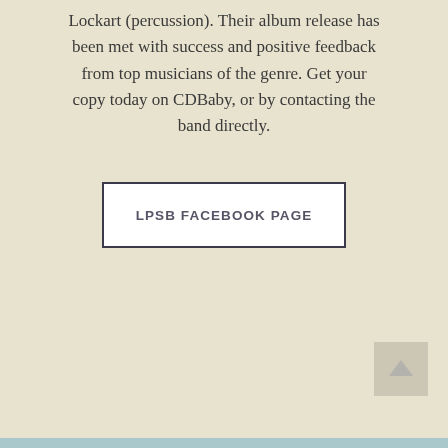Lockart (percussion). Their album release has been met with success and positive feedback from top musicians of the genre. Get your copy today on CDBaby, or by contacting the band directly.
LPSB FACEBOOK PAGE
[Figure (other): Scroll-to-top arrow icon button in lower right corner]